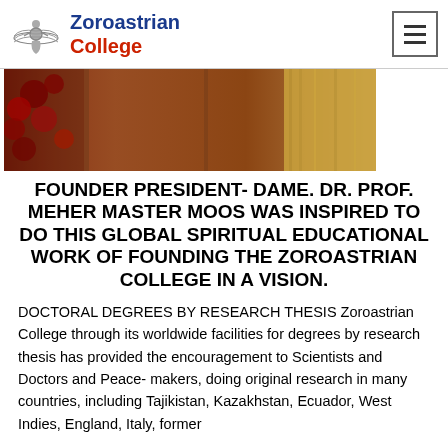Zoroastrian College
[Figure (photo): Partial interior photo showing wooden panels, red floral fabric/flowers on left, and a golden curtain or cloth on the right side]
FOUNDER PRESIDENT- DAME. DR. PROF. MEHER MASTER MOOS WAS INSPIRED TO DO THIS GLOBAL SPIRITUAL EDUCATIONAL WORK OF FOUNDING THE ZOROASTRIAN COLLEGE IN A VISION.
DOCTORAL DEGREES BY RESEARCH THESIS Zoroastrian College through its worldwide facilities for degrees by research thesis has provided the encouragement to Scientists and Doctors and Peace- makers, doing original research in many countries, including Tajikistan, Kazakhstan, Ecuador, West Indies, England, Italy, former